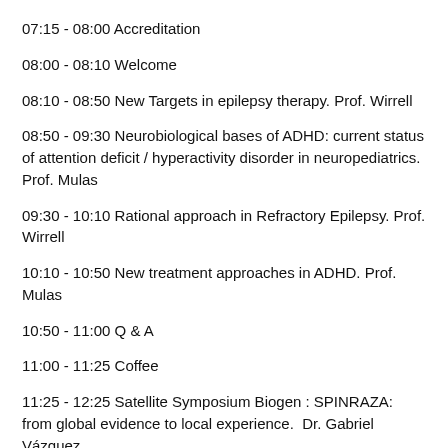07:15 - 08:00 Accreditation
08:00 - 08:10 Welcome
08:10 - 08:50 New Targets in epilepsy therapy. Prof. Wirrell
08:50 - 09:30 Neurobiological bases of ADHD: current status of attention deficit / hyperactivity disorder in neuropediatrics. Prof. Mulas
09:30 - 10:10 Rational approach in Refractory Epilepsy. Prof. Wirrell
10:10 - 10:50 New treatment approaches in ADHD. Prof. Mulas
10:50 - 11:00 Q & A
11:00 - 11:25 Coffee
11:25 - 12:25 Satellite Symposium Biogen : SPINRAZA: from global evidence to local experience.  Dr. Gabriel Vázquez
12:25 - 12:50 Lunch Biogen
12:50 - 13:20 Is the switch from brand-name to generic drugs in MS